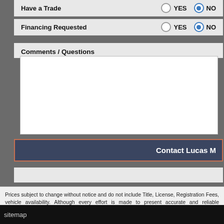Have a Trade — YES (unselected) NO (selected)
Financing Requested — YES (unselected) NO (selected)
Comments / Questions
Contact Lucas M
Prices subject to change without notice and do not include Title, License, Registration Fees, vehicle availability. Although every effort is made to present accurate and reliable information, independent review of its accuracy, completeness, and timeliness. It is the sole responsibility condition before time of sale. Any and all differences must be addressed prior to time of sale. equipment listed is made. EPA mileage estimates for comparison purposes only. Actual m maintenance.
9925 page views
sitemap